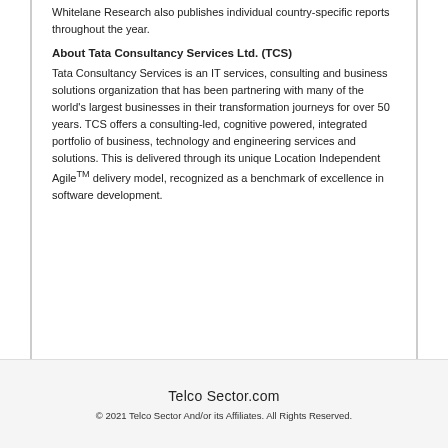Whitelane Research also publishes individual country-specific reports throughout the year.
About Tata Consultancy Services Ltd. (TCS)
Tata Consultancy Services is an IT services, consulting and business solutions organization that has been partnering with many of the world's largest businesses in their transformation journeys for over 50 years. TCS offers a consulting-led, cognitive powered, integrated portfolio of business, technology and engineering services and solutions. This is delivered through its unique Location Independent Agile™ delivery model, recognized as a benchmark of excellence in software development.
Telco Sector.com
© 2021 Telco Sector And/or its Affiliates. All Rights Reserved.